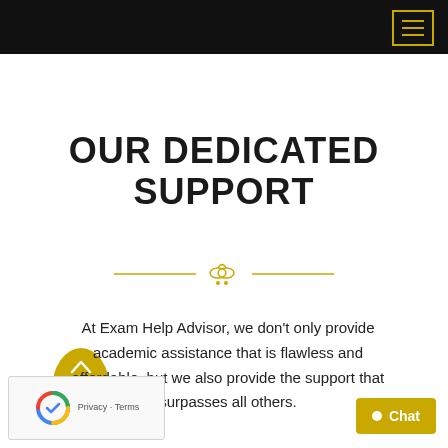OUR DEDICATED SUPPORT
[Figure (illustration): Decorative gold divider with horizontal lines and a small ornamental icon in the center]
At Exam Help Advisor, we don't only provide academic assistance that is flawless and affordable, but we also provide the support that surpasses all others.